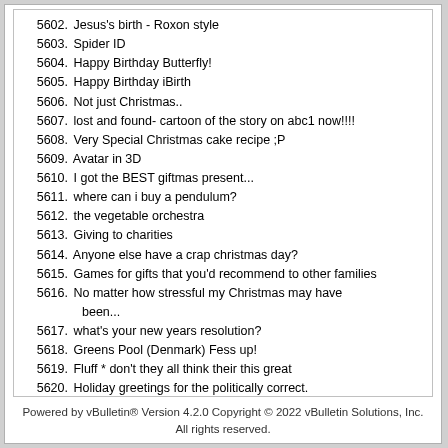5602. Jesus's birth - Roxon style
5603. Spider ID
5604. Happy Birthday Butterfly!
5605. Happy Birthday iBirth
5606. Not just Christmas..
5607. lost and found- cartoon of the story on abc1 now!!!!
5608. Very Special Christmas cake recipe ;P
5609. Avatar in 3D
5610. I got the BEST giftmas present...
5611. where can i buy a pendulum?
5612. the vegetable orchestra
5613. Giving to charities
5614. Anyone else have a crap christmas day?
5615. Games for gifts that you'd recommend to other families
5616. No matter how stressful my Christmas may have been...
5617. what's your new years resolution?
5618. Greens Pool (Denmark) Fess up!
5619. Fluff * don't they all think their this great
5620. Holiday greetings for the politically correct.
5621. Baby predicter (*super fluff*)
5622. Breastfeeding Johnny Depp *fluff* (but great writing)
5623. happy birthday, Ayla!
5624. Car insurance?
5625. Total fire ban?
Powered by vBulletin® Version 4.2.0 Copyright © 2022 vBulletin Solutions, Inc. All rights reserved.